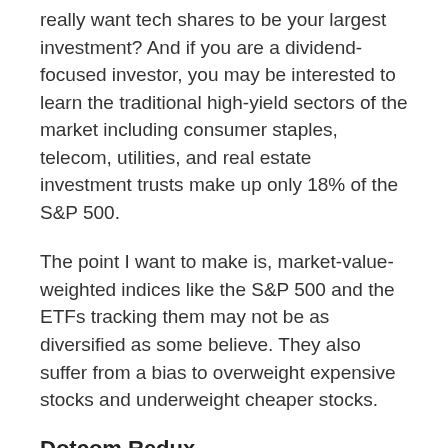really want tech shares to be your largest investment? And if you are a dividend-focused investor, you may be interested to learn the traditional high-yield sectors of the market including consumer staples, telecom, utilities, and real estate investment trusts make up only 18% of the S&P 500.
The point I want to make is, market-value-weighted indices like the S&P 500 and the ETFs tracking them may not be as diversified as some believe. They also suffer from a bias to overweight expensive stocks and underweight cheaper stocks.
Dotcom Redux